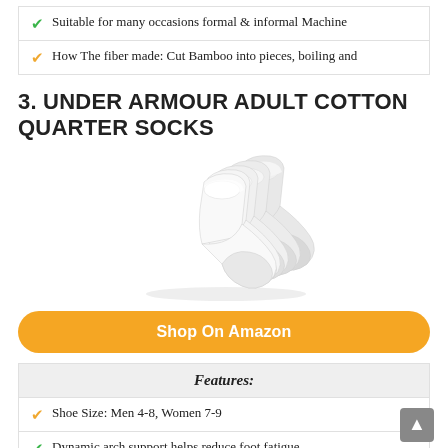Suitable for many occasions formal & informal Machine
How The fiber made: Cut Bamboo into pieces, boiling and
3. UNDER ARMOUR ADULT COTTON QUARTER SOCKS
[Figure (photo): Stack of white Under Armour adult cotton quarter socks fanned out]
Shop On Amazon
| Features: |
| --- |
| Shoe Size: Men 4-8, Women 7-9 |
| Dynamic arch support helps reduce foot fatigue |